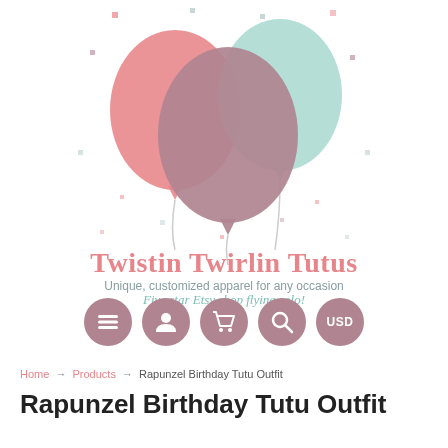[Figure (logo): Three overlapping balloons (pink, mauve/dark pink, mint green) with strings and scattered confetti dots above the Twistin Twirlin Tutus brand text]
Twistin Twirlin Tutus
Unique, customized apparel for any occasion
Five star Etsy shop flying solo!
[Figure (infographic): Five circular mauve/dusty rose navigation icons: hamburger menu, user/account, shopping cart, search/magnify, and USD currency selector]
Home → Products → Rapunzel Birthday Tutu Outfit
Rapunzel Birthday Tutu Outfit